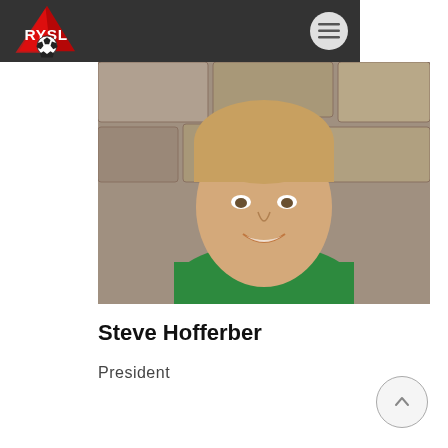[Figure (logo): RYSL soccer league logo with soccer ball and stylized text on dark header bar]
[Figure (photo): Headshot of a young man with short blonde hair, smiling, wearing a green polo shirt, with a stone wall background]
Steve Hofferber
President